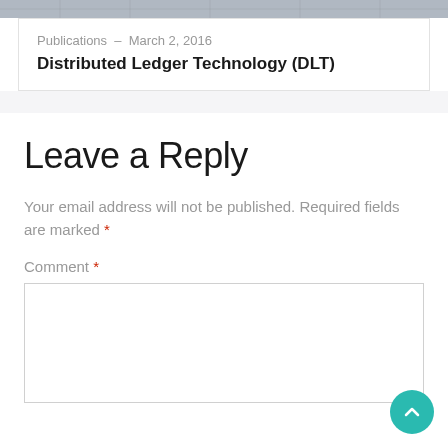[Figure (photo): Decorative header image strip showing a network/technology themed black and white photo]
Publications — March 2, 2016
Distributed Ledger Technology (DLT)
Leave a Reply
Your email address will not be published. Required fields are marked *
Comment *